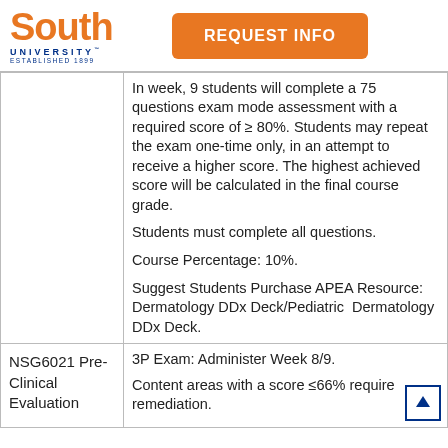[Figure (logo): South University logo with orange 'South' text and blue 'UNIVERSITY ESTABLISHED 1899' text]
[Figure (other): Orange 'REQUEST INFO' button]
| Course | Description |
| --- | --- |
|  | In week, 9 students will complete a 75 questions exam mode assessment with a required score of ≥ 80%.  Students may repeat the exam one-time only, in an attempt to receive a higher score. The highest achieved score will be calculated in the final course grade.

Students must complete all questions.

Course Percentage: 10%.

Suggest Students Purchase APEA Resource: Dermatology DDx Deck/Pediatric  Dermatology DDx Deck. |
| NSG6021 Pre-Clinical Evaluation | 3P Exam: Administer Week 8/9.

Content areas with a score ≤66% require remediation. |